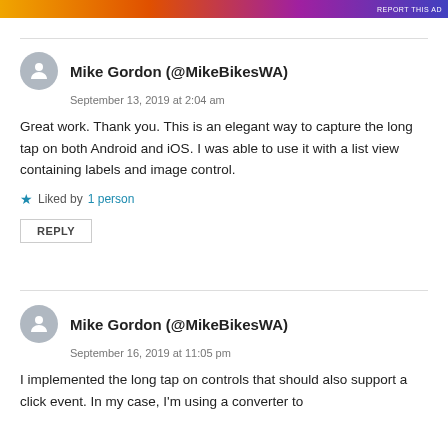[Figure (other): Colorful ad banner at top with 'REPORT THIS AD' text]
Mike Gordon (@MikeBikesWA)
September 13, 2019 at 2:04 am
Great work. Thank you. This is an elegant way to capture the long tap on both Android and iOS. I was able to use it with a list view containing labels and image control.
Liked by 1 person
REPLY
Mike Gordon (@MikeBikesWA)
September 16, 2019 at 11:05 pm
I implemented the long tap on controls that should also support a click event. In my case, I'm using a converter to